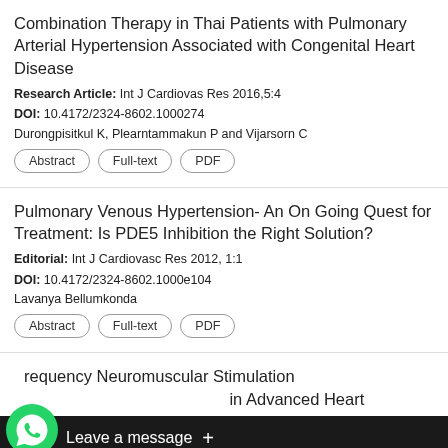Combination Therapy in Thai Patients with Pulmonary Arterial Hypertension Associated with Congenital Heart Disease
Research Article: Int J Cardiovas Res 2016,5:4
DOI: 10.4172/2324-8602.1000274
Durongpisitkul K, Plearntammakun P and Vijarsorn C
Abstract
Full-text
PDF
Pulmonary Venous Hypertension- An On Going Quest for Treatment: Is PDE5 Inhibition the Right Solution?
Editorial: Int J Cardiovasc Res 2012, 1:1
DOI: 10.4172/2324-8602.1000e104
Lavanya Bellumkonda
Abstract
Full-text
PDF
Frequency Neuromuscular Stimulation ... in Advanced Heart Fail...